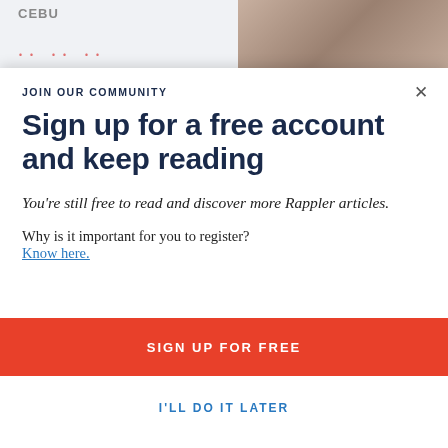CEBU
[Figure (photo): Group photo of people, partially visible at top right]
JOIN OUR COMMUNITY
Sign up for a free account and keep reading
You're still free to read and discover more Rappler articles.
Why is it important for you to register?
Know here.
SIGN UP FOR FREE
I'LL DO IT LATER